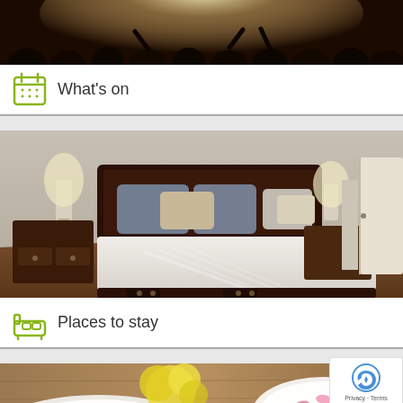[Figure (photo): Concert crowd with bright stage lights from above, dark silhouettes of people]
What's on
[Figure (photo): Hotel or home bedroom with dark wood sleigh bed, white bedding, matching nightstands with lamps, hardwood floor]
Places to stay
[Figure (photo): Spa setting with yellow flowers, white towels with pink petals on wooden surface]